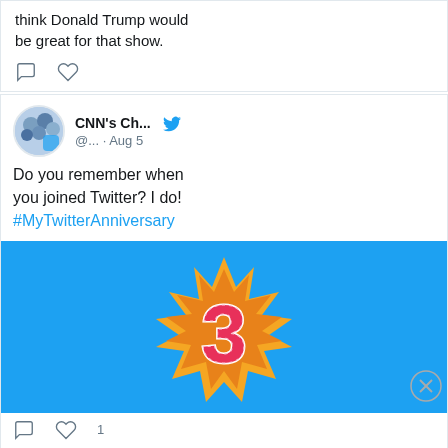think Donald Trump would be great for that show.
[Figure (screenshot): Tweet action icons: comment and heart]
[Figure (screenshot): CNN's Ch... Twitter avatar and profile header with Twitter bird icon, handle @... · Aug 5]
Do you remember when you joined Twitter? I do! #MyTwitterAnniversary
[Figure (illustration): Blue background with a starburst graphic showing the number 3 in decorative style]
[Figure (screenshot): Tweet action icons: comment and heart with 1 like]
Advertisements
[Figure (screenshot): WooCommerce advertisement banner: Turn your hobby into a business in 8 steps]